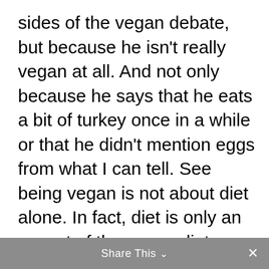sides of the vegan debate, but because he isn't really vegan at all. And not only because he says that he eats a bit of turkey once in a while or that he didn't mention eggs from what I can tell. See being vegan is not about diet alone. In fact, diet is only an aspect of the vegan diet.
Share This ∨  ✕